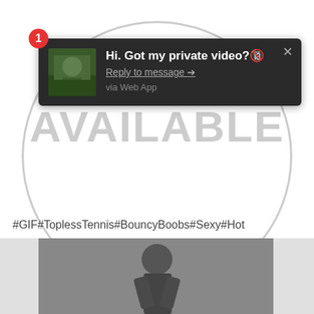[Figure (screenshot): Screenshot of a web browser notification popup over a social media page. The notification has a dark background with a thumbnail image, message text 'Hi. Got my private video? 🔞', a 'Reply to message →' link, and 'via Web App' text. A red badge with '1' appears in the top-left corner. A large grey circle watermark with 'AVAILABLE' text is in the background. Below is a hashtag line '#GIF#ToplessTennis#BouncyBoobs#Sexy#Hot' and a black and white photo strip at the bottom.]